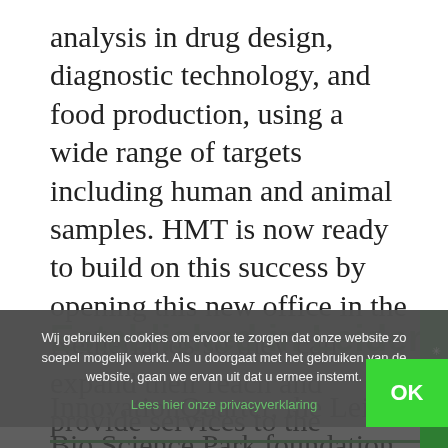analysis in drug design, diagnostic technology, and food production, using a wide range of targets including human and animal samples. HMT is now ready to build on this success by opening this new office in the Netherlands so they can expand their reach and provide services to the European research community.
Established in Leiden
InnovationQuarter, the Leiden Bio Science Park foundation and Netherlands Foreign Investment Agency